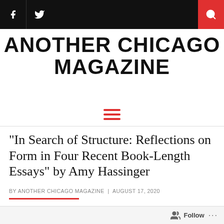Another Chicago Magazine - navigation bar with Facebook, Twitter icons and search
ANOTHER CHICAGO MAGAZINE
"In Search of Structure: Reflections on Form in Four Recent Book-Length Essays" by Amy Hassinger
BY ANOTHER CHICAGO MAGAZINE | AUGUST 17, 2020
[Figure (photo): Strip of four book covers partially visible at the bottom of the page]
Follow